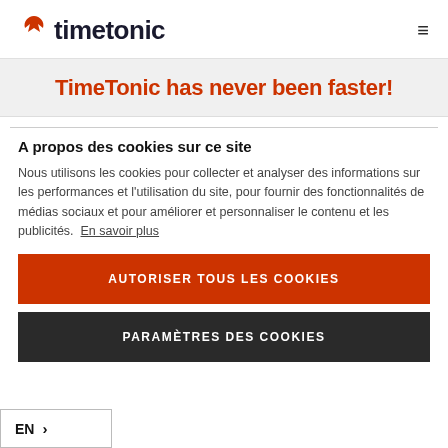timetonic — hamburger menu icon
TimeTonic has never been faster!
A propos des cookies sur ce site
Nous utilisons les cookies pour collecter et analyser des informations sur les performances et l'utilisation du site, pour fournir des fonctionnalités de médias sociaux et pour améliorer et personnaliser le contenu et les publicités. En savoir plus
AUTORISER TOUS LES COOKIES
PARAMÈTRES DES COOKIES
EN >